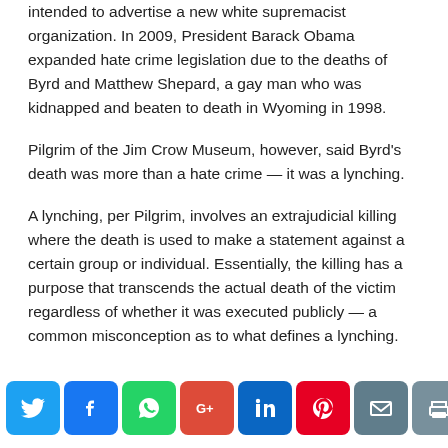intended to advertise a new white supremacist organization. In 2009, President Barack Obama expanded hate crime legislation due to the deaths of Byrd and Matthew Shepard, a gay man who was kidnapped and beaten to death in Wyoming in 1998.
Pilgrim of the Jim Crow Museum, however, said Byrd's death was more than a hate crime — it was a lynching.
A lynching, per Pilgrim, involves an extrajudicial killing where the death is used to make a statement against a certain group or individual. Essentially, the killing has a purpose that transcends the actual death of the victim regardless of whether it was executed publicly — a common misconception as to what defines a lynching.
[Figure (infographic): Social media share bar with buttons for Twitter, Facebook, WhatsApp, Google+, LinkedIn, Pinterest, Email, Print, and a scroll-to-top button.]